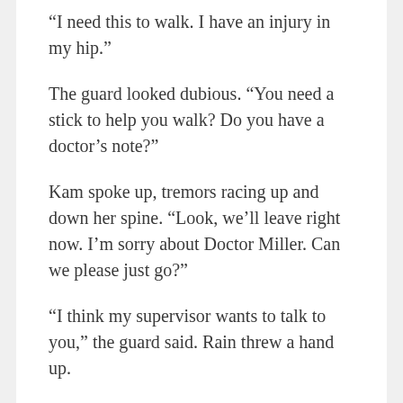“I need this to walk. I have an injury in my hip.”
The guard looked dubious. “You need a stick to help you walk? Do you have a doctor’s note?”
Kam spoke up, tremors racing up and down her spine. “Look, we’ll leave right now. I’m sorry about Doctor Miller. Can we please just go?”
“I think my supervisor wants to talk to you,” the guard said. Rain threw a hand up.
“This is absurd. You don’t need to go to the trouble, we were just leaving.” Rain tried to forcibly walk past the guard but was stopped